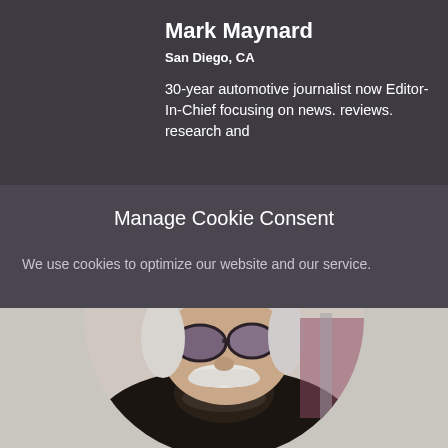Mark Maynard
San Diego, CA
30-year automotive journalist now Editor-In-Chief focusing on news. reviews. research and
Manage Cookie Consent
We use cookies to optimize our website and our service.
Accept
[Figure (photo): Circular profile photo of Mark Maynard, a man with white mustache wearing sunglasses and a leather jacket]